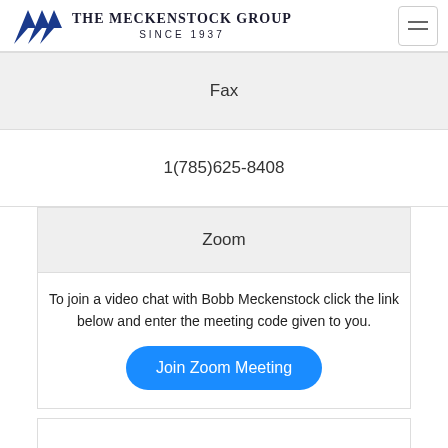The Meckenstock Group SINCE 1937
Fax
1(785)625-8408
Zoom
To join a video chat with Bobb Meckenstock click the link below and enter the meeting code given to you.
Join Zoom Meeting